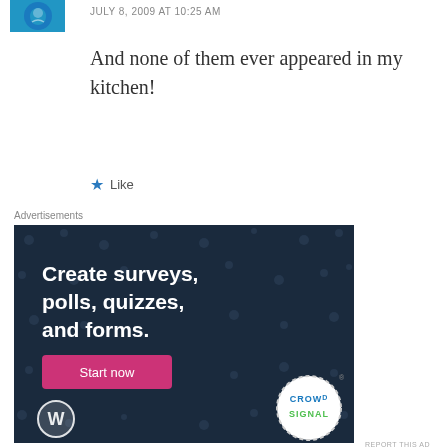JULY 8, 2009 AT 10:25 AM
And none of them ever appeared in my kitchen!
Like
Advertisements
[Figure (illustration): Crowdsignal advertisement banner on dark navy background with dotted pattern. Text reads: Create surveys, polls, quizzes, and forms. A pink Start now button, WordPress logo bottom left, Crowdsignal logo bottom right in a dashed circle.]